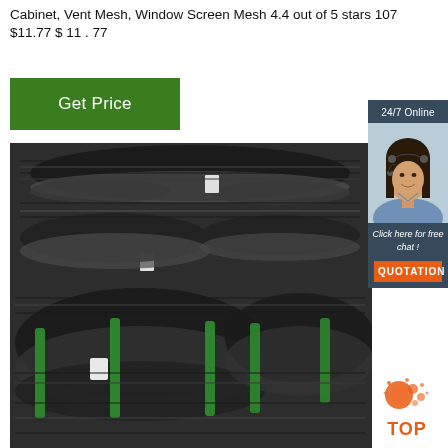Cabinet, Vent Mesh, Window Screen Mesh 4.4 out of 5 stars 107 $11.77 $ 11 . 77
Get Price
[Figure (photo): Large bundles of dark steel wire coils stacked together, bound with green plastic straps]
24/7 Online
[Figure (photo): Customer service representative woman with headset, smiling]
Click here for free chat !
QUOTATION
[Figure (logo): TOP badge logo with orange flame/sparks icon above the word TOP in orange]